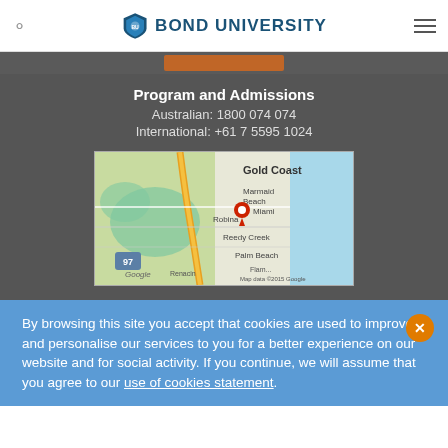BOND UNIVERSITY
Program and Admissions
Australian: 1800 074 074
International: +61 7 5595 1024
[Figure (map): Google Maps showing Gold Coast area including Marmaid Beach, Miami, Robina, Reedy Creek, Palm Beach areas with a red location pin. Map data ©2015 Google.]
By browsing this site you accept that cookies are used to improve and personalise our services to you for a better experience on our website and for social activity. If you continue, we will assume that you agree to our use of cookies statement.